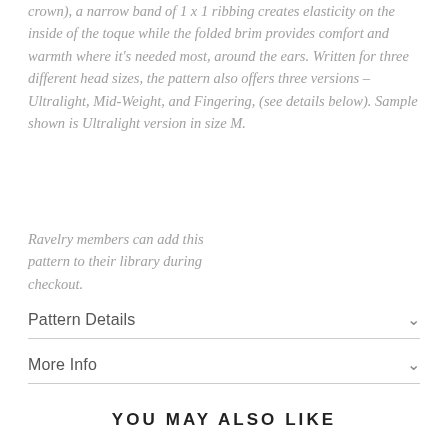crown), a narrow band of 1 x 1 ribbing creates elasticity on the inside of the toque while the folded brim provides comfort and warmth where it's needed most, around the ears. Written for three different head sizes, the pattern also offers three versions – Ultralight, Mid-Weight, and Fingering, (see details below). Sample shown is Ultralight version in size M.
Ravelry members can add this pattern to their library during checkout.
Pattern Details
More Info
YOU MAY ALSO LIKE